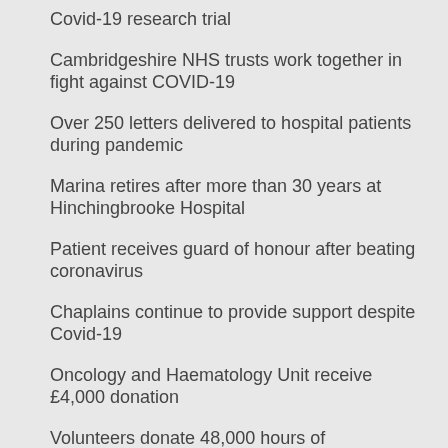Covid-19 research trial
Cambridgeshire NHS trusts work together in fight against COVID-19
Over 250 letters delivered to hospital patients during pandemic
Marina retires after more than 30 years at Hinchingbrooke Hospital
Patient receives guard of honour after beating coronavirus
Chaplains continue to provide support despite Covid-19
Oncology and Haematology Unit receive £4,000 donation
Volunteers donate 48,000 hours of